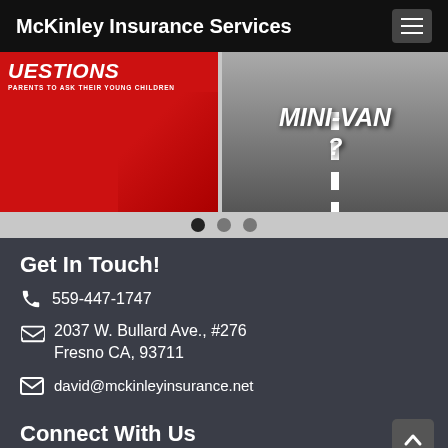McKinley Insurance Services
[Figure (screenshot): Two promotional image thumbnails in a slider: left image has red background with text 'QUESTIONS PARENTS TO ASK THEIR YOUNG CHILDREN' with a person sitting; right image shows a road with bold white text 'MINI-VAN?' overlay.]
Get In Touch!
559-447-1747
2037 W. Bullard Ave., #276
Fresno CA, 93711
david@mckinleyinsurance.net
Connect With Us
Please leave us a review. We care about what our customers think!